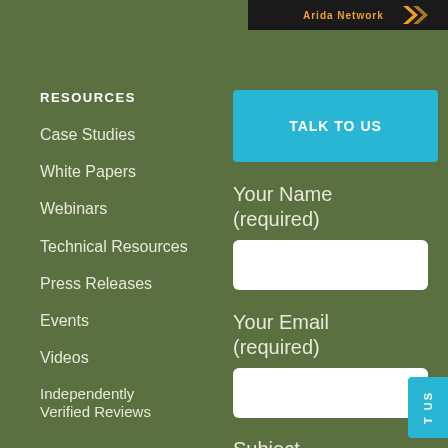[Figure (logo): Arida Network logo on dark background]
RESOURCES
Case Studies
White Papers
Webinars
Technical Resources
Press Releases
Events
Videos
Independently Verified Reviews
TALK TO US
Your Name (required)
Your Email (required)
Subject
T US